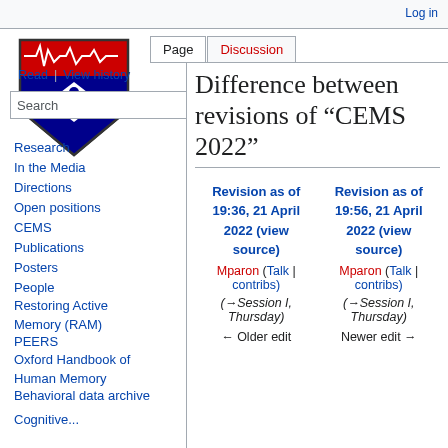Log in
[Figure (logo): Penn Medicine / University of Pennsylvania neuroscience lab logo: shield with red top bar showing EEG waveform, blue bottom with sigma and xi symbols]
Page | Discussion | Read | View history
Difference between revisions of "CEMS 2022"
Research
In the Media
Directions
Open positions
CEMS
Publications
Posters
People
Restoring Active Memory (RAM)
PEERS
Oxford Handbook of Human Memory
Behavioral data archive
Cognitive...
| Revision as of 19:36, 21 April 2022 (view source) | Revision as of 19:56, 21 April 2022 (view source) |
| --- | --- |
| Mparon (Talk | contribs) | Mparon (Talk | contribs) |
| (→Session I, Thursday) | (→Session I, Thursday) |
| ← Older edit | Newer edit → |